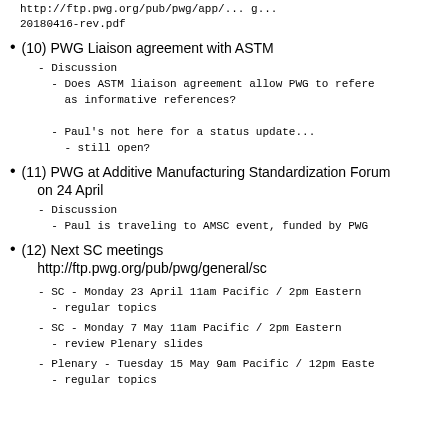http://ftp.pwg.org/pub/pwg/app/... 20180416-rev.pdf
(10) PWG Liaison agreement with ASTM
- Discussion
  - Does ASTM liaison agreement allow PWG to reference as informative references?
  - Paul's not here for a status update...
    - still open?
(11) PWG at Additive Manufacturing Standardization Forum on 24 April
- Discussion
  - Paul is traveling to AMSC event, funded by PWG
(12) Next SC meetings
http://ftp.pwg.org/pub/pwg/general/sc
- SC - Monday 23 April 11am Pacific / 2pm Eastern
  - regular topics
- SC - Monday 7 May 11am Pacific / 2pm Eastern
  - review Plenary slides
- Plenary - Tuesday 15 May 9am Pacific / 12pm Eastern
  - regular topics